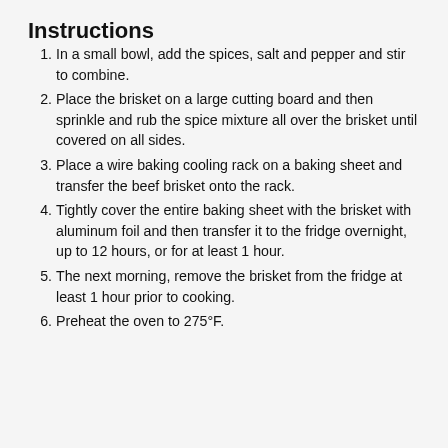Instructions
In a small bowl, add the spices, salt and pepper and stir to combine.
Place the brisket on a large cutting board and then sprinkle and rub the spice mixture all over the brisket until covered on all sides.
Place a wire baking cooling rack on a baking sheet and transfer the beef brisket onto the rack.
Tightly cover the entire baking sheet with the brisket with aluminum foil and then transfer it to the fridge overnight, up to 12 hours, or for at least 1 hour.
The next morning, remove the brisket from the fridge at least 1 hour prior to cooking.
Preheat the oven to 275°F.